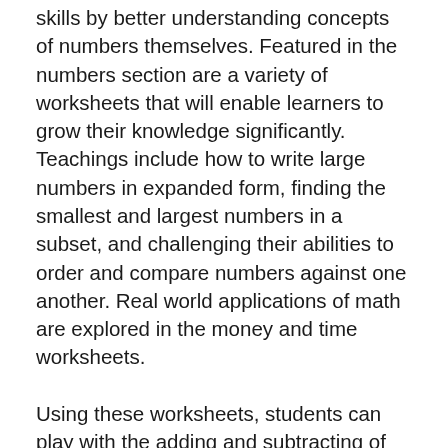skills by better understanding concepts of numbers themselves. Featured in the numbers section are a variety of worksheets that will enable learners to grow their knowledge significantly. Teachings include how to write large numbers in expanded form, finding the smallest and largest numbers in a subset, and challenging their abilities to order and compare numbers against one another. Real world applications of math are explored in the money and time worksheets.
Using these worksheets, students can play with the adding and subtracting of coins and bills, wages (or allowances!), and the calculation of simple taxes. Through visual aids, learning how to calculate the passing of time becomes simpler. In addition, students can learn how to convert time of weeks and years, and how long an alarm should be set for. Each of the worksheets will help students experience these in life. Finally, the